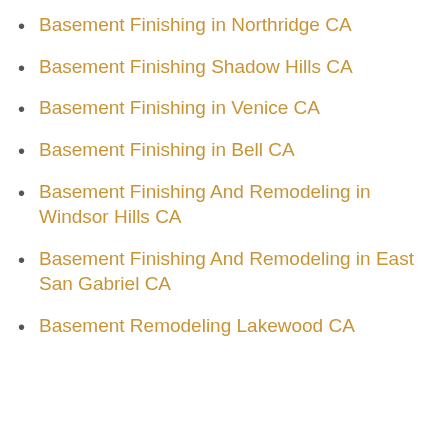Basement Finishing in Northridge CA
Basement Finishing Shadow Hills CA
Basement Finishing in Venice CA
Basement Finishing in Bell CA
Basement Finishing And Remodeling in Windsor Hills CA
Basement Finishing And Remodeling in East San Gabriel CA
Basement Remodeling Lakewood CA